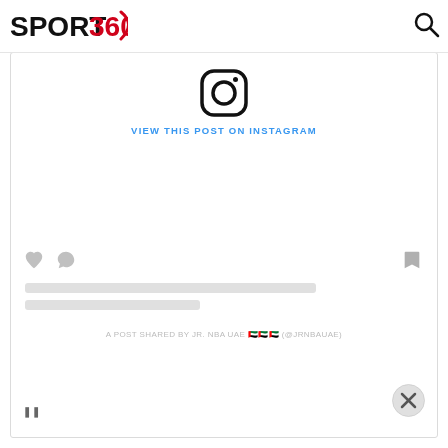SPORT 360
[Figure (screenshot): Instagram embed widget showing the Instagram logo icon at the top, a 'VIEW THIS POST ON INSTAGRAM' link in blue, placeholder gray loading bars, heart and comment reaction icons, bookmark icon, two gray placeholder text lines, and a caption reading 'A POST SHARED BY JR. NBA UAE (emojis) (@JRNBAUAE)'. There is also a close (X) button in the bottom right and a pause icon at the bottom left.]